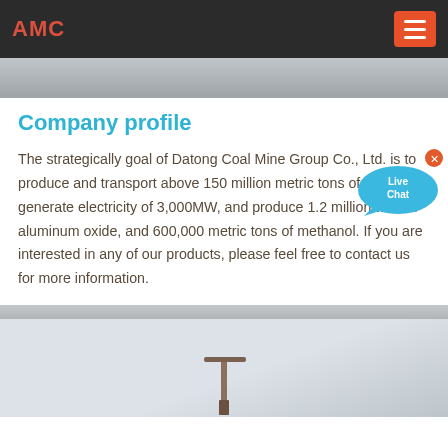AMC
[Figure (photo): Top image strip showing a partially visible industrial/outdoor scene]
Company profile
The strategically goal of Datong Coal Mine Group Co., Ltd. is to produce and transport above 150 million metric tons of coal, generate electricity of 3,000MW, and produce 1.2 million tons of aluminum oxide, and 600,000 metric tons of methanol. If you are interested in any of our products, please feel free to contact us for more information.
[Figure (illustration): Live Chat speech bubble overlay icon with blue bubble and 'Live Chat' text]
[Figure (photo): Bottom image showing an industrial/construction scene with equipment silhouette against light sky]